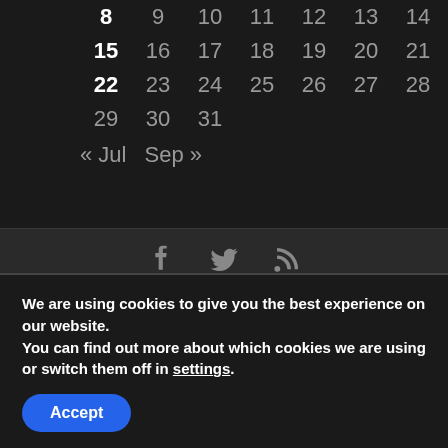| 8 | 9 | 10 | 11 | 12 | 13 | 14 |
| 15 | 16 | 17 | 18 | 19 | 20 | 21 |
| 22 | 23 | 24 | 25 | 26 | 27 | 28 |
| 29 | 30 | 31 |  |  |  |  |
« Jul   Sep »
[Figure (other): Social media icons: Facebook, Twitter, RSS feed]
We are using cookies to give you the best experience on our website.
You can find out more about which cookies we are using or switch them off in settings.
Accept